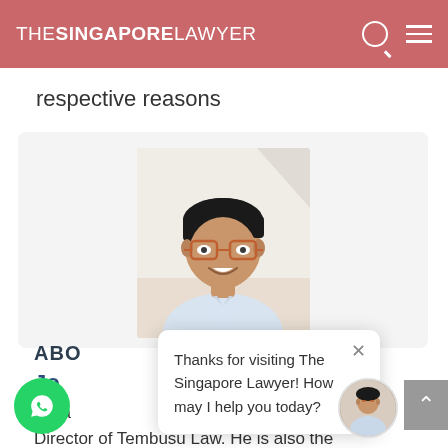THE SINGAPORE LAWYER
respective reasons
[Figure (photo): Headshot photo of a man with dark hair, wearing orange-framed glasses and a light blue shirt, smiling against a light background]
ABO
Jo
Jona g Director of Tembusu Law. He is also the
Thanks for visiting The Singapore Lawyer! How may I help you today?